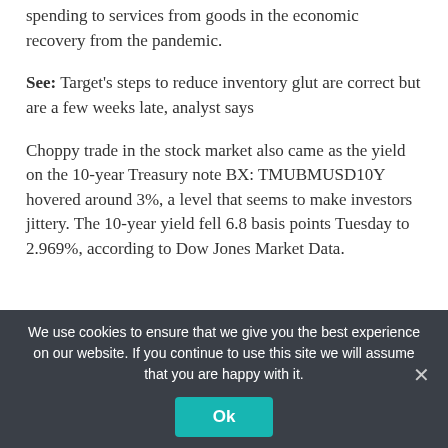spending to services from goods in the economic recovery from the pandemic.
See: Target's steps to reduce inventory glut are correct but are a few weeks late, analyst says
Choppy trade in the stock market also came as the yield on the 10-year Treasury note BX: TMUBMUSD10Y hovered around 3%, a level that seems to make investors jittery. The 10-year yield fell 6.8 basis points Tuesday to 2.969%, according to Dow Jones Market Data.
We use cookies to ensure that we give you the best experience on our website. If you continue to use this site we will assume that you are happy with it.